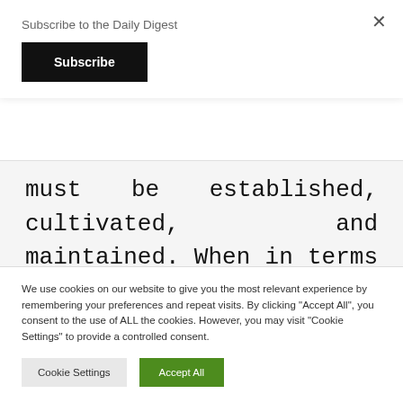Subscribe to the Daily Digest
Subscribe
must be established, cultivated, and maintained. When in terms of the soul, the young soul is not ordered and is thus driven to passions. If the soul is ever to be ordered, outside
We use cookies on our website to give you the most relevant experience by remembering your preferences and repeat visits. By clicking "Accept All", you consent to the use of ALL the cookies. However, you may visit "Cookie Settings" to provide a controlled consent.
Cookie Settings
Accept All